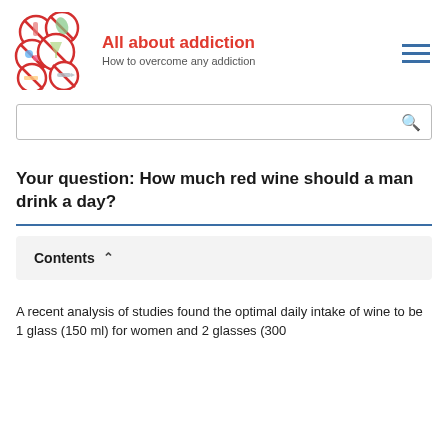All about addiction — How to overcome any addiction
[Figure (logo): Five circular red prohibition signs containing various addiction-related icons (alcohol, cannabis, pills, etc.) arranged in a cluster]
Your question: How much red wine should a man drink a day?
Contents
A recent analysis of studies found the optimal daily intake of wine to be 1 glass (150 ml) for women and 2 glasses (300...